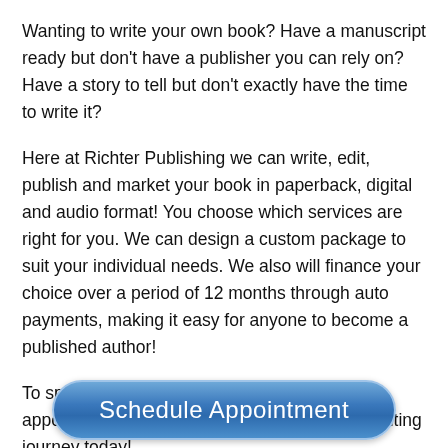Wanting to write your own book? Have a manuscript ready but don't have a publisher you can rely on? Have a story to tell but don't exactly have the time to write it?
Here at Richter Publishing we can write, edit, publish and market your book in paperback, digital and audio format! You choose which services are right for you. We can design a custom package to suit your individual needs. We also will finance your choice over a period of 12 months through auto payments, making it easy for anyone to become a published author!
To speak to a representative, just set up an appointment by clicking below and start your writing journey today!
[Figure (other): Blue rounded button labeled 'Schedule Appointment']